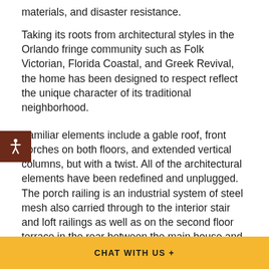materials, and disaster resistance.
Taking its roots from architectural styles in the Orlando fringe community such as Folk Victorian, Florida Coastal, and Greek Revival, the home has been designed to respect reflect the unique character of its traditional neighborhood.
Familiar elements include a gable roof, front porches on both floors, and extended vertical columns, but with a twist. All of the architectural elements have been redefined and unplugged. The porch railing is an industrial system of steel mesh also carried through to the interior stair and loft railings as well as on the second floor terrace in the rear between the main house and detached
CHAT WITH US +